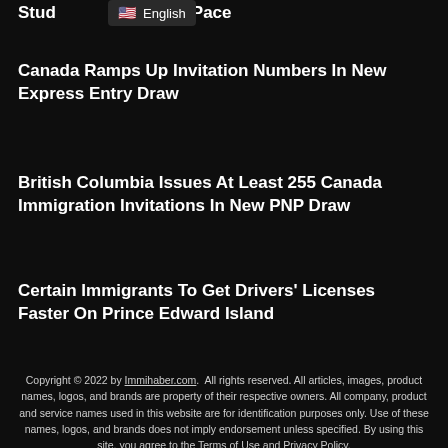Stud… d Pace
English
Canada Ramps Up Invitation Numbers In New Express Entry Draw
British Columbia Issues At Least 255 Canada Immigration Invitations In New PNP Draw
Certain Immigrants To Get Drivers' Licenses Faster On Prince Edward Island
Copyright © 2022 by Immihaber.com. All rights reserved. All articles, images, product names, logos, and brands are property of their respective owners. All company, product and service names used in this website are for identification purposes only. Use of these names, logos, and brands does not imply endorsement unless specified. By using this site, you agree to the Terms of Use and Privacy Policy.